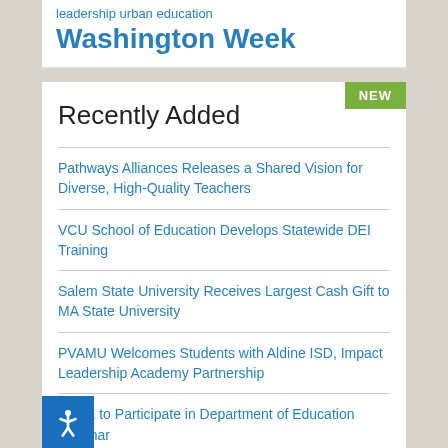leadership urban education
Washington Week
Recently Added
Pathways Alliances Releases a Shared Vision for Diverse, High-Quality Teachers
VCU School of Education Develops Statewide DEI Training
Salem State University Receives Largest Cash Gift to MA State University
PVAMU Welcomes Students with Aldine ISD, Impact Leadership Academy Partnership
ACTE to Participate in Department of Education Webinar